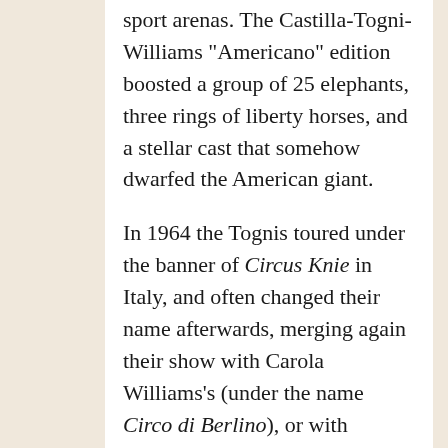sport arenas. The Castilla-Togni-Williams "Americano" edition boosted a group of 25 elephants, three rings of liberty horses, and a stellar cast that somehow dwarfed the American giant.
In 1964 the Tognis toured under the banner of Circus Knie in Italy, and often changed their name afterwards, merging again their show with Carola Williams's (under the name Circo di Berlino), or with Castilla's (under the name Circo di Madrid). After switching the names Heros and Americano all through the 1960s, the Ferdinando Togni family stuck definitely with Circo Americano in 1975.
Meanwhile, the family participated in other important ventures: an Italian tour of the Moscow Circus (1969); their own lavish production, Circo de Mexico (1970-71), in Italy and Yugoslavia; the Disney on Parade show (1972); the Enis Togni Circus in Great Britain with Mary